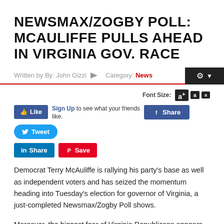NEWSMAX/ZOGBY POLL: MCAULIFFE PULLS AHEAD IN VIRGINIA GOV. RACE
Written by By: John Gizzi   Category: News
Font Size: A+ A A
Like  Sign Up to see what your friends like.  Share  Tweet  Share  Save
Democrat Terry McAuliffe is rallying his party's base as well as independent voters and has seized the momentum heading into Tuesday's election for governor of Virginia, a just-completed Newsmax/Zogby Poll shows.
Moreover, the biggest fear of Virginia Republicans appears to be coming true: that Libertarian nominee Robert Sarvis will drain significant votes that otherwise would have gone to GOP ...